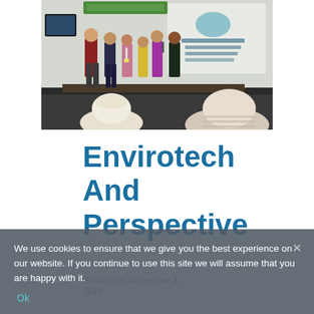[Figure (photo): Conference or seminar scene showing several people standing on a stage/presentation area with a projection screen behind them, and audience members visible in the foreground.]
Envirotech And Perspective
Posted On December 4, 2015
| By JahanGest | 0
We use cookies to ensure that we give you the best experience on our website. If you continue to use this site we will assume that you are happy with it.  Ok  ×